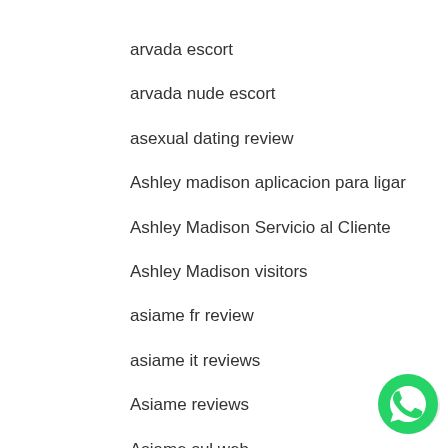arvada escort
arvada nude escort
asexual dating review
Ashley madison aplicacion para ligar
Ashley Madison Servicio al Cliente
Ashley Madison visitors
asiame fr review
asiame it reviews
Asiame reviews
Asiame sul web